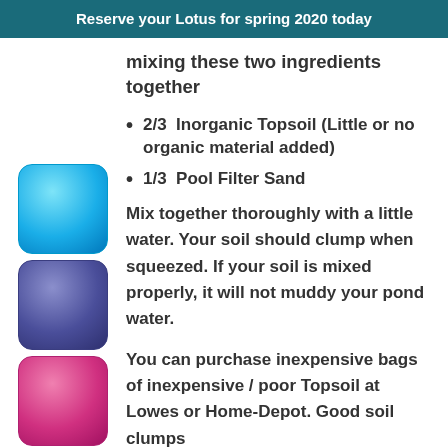Reserve your Lotus for spring 2020 today
mixing these two ingredients together
2/3  Inorganic Topsoil (Little or no organic material added)
1/3  Pool Filter Sand
Mix together thoroughly with a little water. Your soil should clump when squeezed. If your soil is mixed properly, it will not muddy your pond water.
You can purchase inexpensive bags of inexpensive / poor Topsoil at Lowes or Home-Depot. Good soil clumps